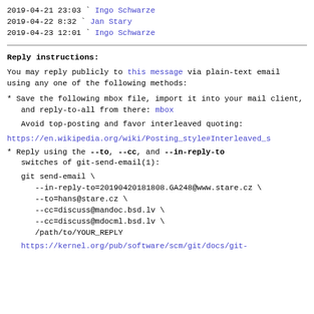2019-04-21 23:03   ` Ingo Schwarze
2019-04-22  8:32   ` Jan Stary
2019-04-23 12:01   ` Ingo Schwarze
Reply instructions:
You may reply publicly to this message via plain-text email
using any one of the following methods:
* Save the following mbox file, import it into your mail client,
   and reply-to-all from there: mbox
Avoid top-posting and favor interleaved quoting:
https://en.wikipedia.org/wiki/Posting_style#Interleaved_s
* Reply using the --to, --cc, and --in-reply-to switches of git-send-email(1):
git send-email \
     --in-reply-to=20190420181808.GA248@www.stare.cz \
     --to=hans@stare.cz \
     --cc=discuss@mandoc.bsd.lv \
     --cc=discuss@mdocml.bsd.lv \
     /path/to/YOUR_REPLY
https://kernel.org/pub/software/scm/git/docs/git-